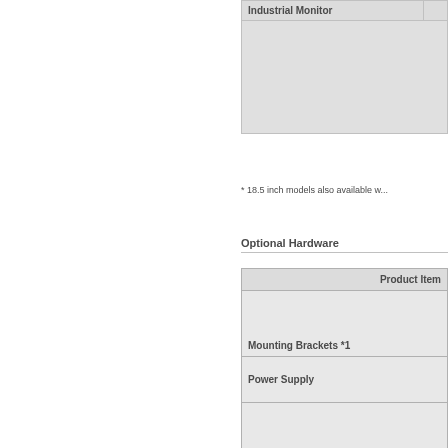| Industrial Monitor |  |
| --- | --- |
|  |  |
* 18.5 inch models also available w...
Optional Hardware
| Product Item |
| --- |
| Mounting Brackets *1 |
| Power Supply |
| USB Type-A to USB Type-B Cab... |